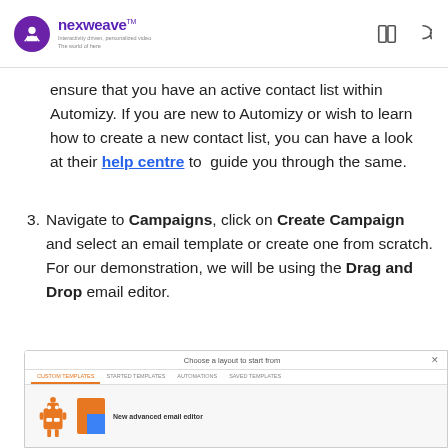nexweave
ensure that you have an active contact list within Automizy. If you are new to Automizy or wish to learn how to create a new contact list, you can have a look at their help centre to guide you through the same.
3. Navigate to Campaigns, click on Create Campaign and select an email template or create one from scratch. For our demonstration, we will be using the Drag and Drop email editor.
[Figure (screenshot): Screenshot of an email editor interface showing a layout chooser dialog with tabs and template thumbnails]